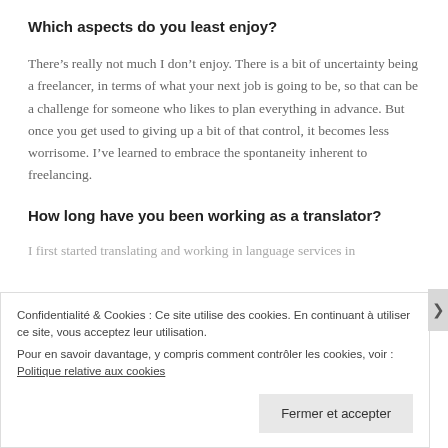Which aspects do you least enjoy?
There’s really not much I don’t enjoy. There is a bit of uncertainty being a freelancer, in terms of what your next job is going to be, so that can be a challenge for someone who likes to plan everything in advance. But once you get used to giving up a bit of that control, it becomes less worrisome. I’ve learned to embrace the spontaneity inherent to freelancing.
How long have you been working as a translator?
I first started translating and working in language services in
Confidentialité & Cookies : Ce site utilise des cookies. En continuant à utiliser ce site, vous acceptez leur utilisation.
Pour en savoir davantage, y compris comment contrôler les cookies, voir : Politique relative aux cookies
Fermer et accepter